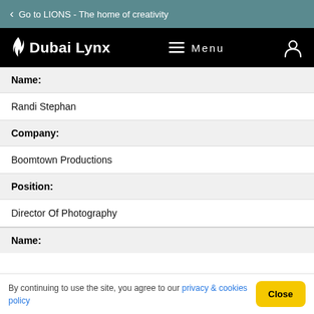Go to LIONS - The home of creativity
[Figure (logo): Dubai Lynx logo with flame icon, Menu hamburger icon, and user account icon on black navigation bar]
Name:
Randi Stephan
Company:
Boomtown Productions
Position:
Director Of Photography
Name:
By continuing to use the site, you agree to our privacy & cookies policy